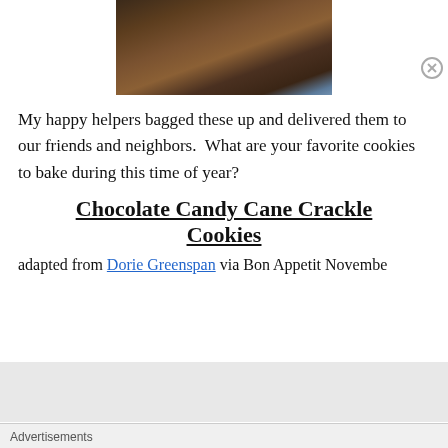[Figure (photo): A photo showing a person in a brown jacket near what appears to be a market or fair stand with wrapped items on display.]
My happy helpers bagged these up and delivered them to our friends and neighbors.  What are your favorite cookies to bake during this time of year?
Chocolate Candy Cane Crackle Cookies
adapted from Dorie Greenspan via Bon Appetit Novembe...
Advertisements